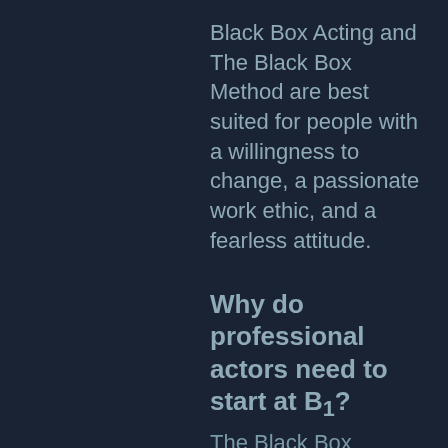Black Box Acting and The Black Box Method are best suited for people with a willingness to change, a passionate work ethic, and a fearless attitude.
Why do professional actors need to start at B1?
The Black Box Method is streamlined and extremely intensive, so we require that all students start from the same place, with the same groundwork and the same